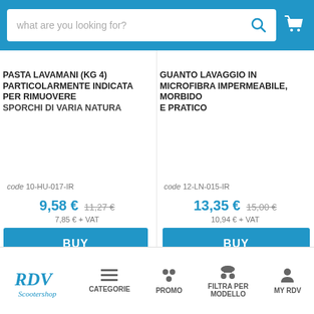what are you looking for?
PASTA LAVAMANI (KG 4) PARTICOLARMENTE INDICATA PER RIMUOVERE SPORCHI DI VARIA NATURA
code 10-HU-017-IR
9,58 € 11,27 € 7,85 € + VAT
GUANTO LAVAGGIO IN MICROFIBRA IMPERMEABILE, MORBIDO E PRATICO
code 12-LN-015-IR
13,35 € 15,00 € 10,94 € + VAT
CATEGORIE  PROMO  FILTRA PER MODELLO  MY RDV